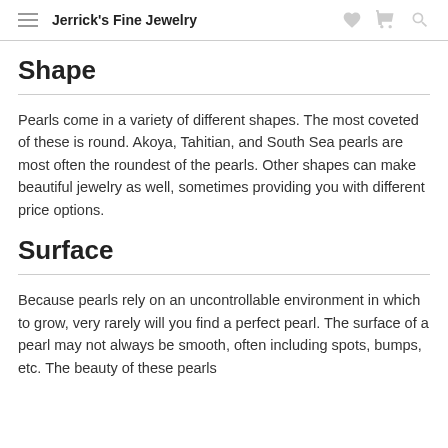Jerrick's Fine Jewelry
Shape
Pearls come in a variety of different shapes. The most coveted of these is round. Akoya, Tahitian, and South Sea pearls are most often the roundest of the pearls. Other shapes can make beautiful jewelry as well, sometimes providing you with different price options.
Surface
Because pearls rely on an uncontrollable environment in which to grow, very rarely will you find a perfect pearl. The surface of a pearl may not always be smooth, often including spots, bumps, etc. The beauty of these pearls